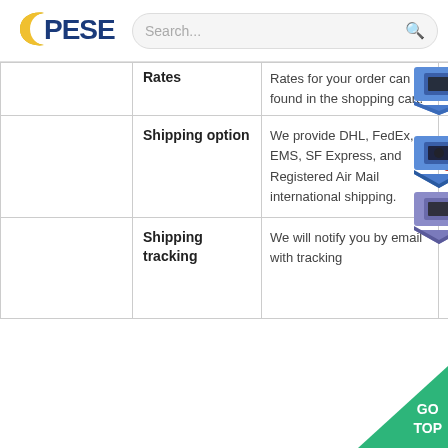PESE | Search...
|  | Label | Content | Price |
| --- | --- | --- | --- |
|  | Rates | Rates for your order can be found in the shopping cart. | US$0.5 |
|  | Shipping option | We provide DHL, FedEx, EMS, SF Express, and Registered Air Mail international shipping. | US$0.1 |
|  | Shipping tracking | We will notify you by email with tracking... |  |